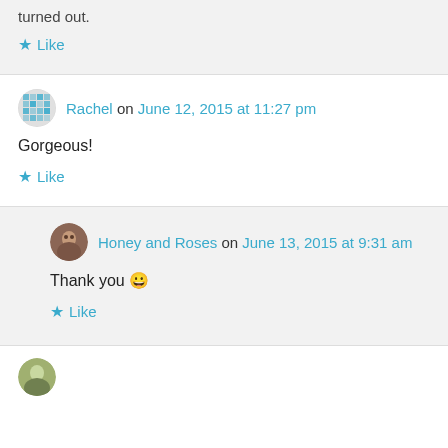turned out.
★ Like
Rachel on June 12, 2015 at 11:27 pm
Gorgeous!
★ Like
Honey and Roses on June 13, 2015 at 9:31 am
Thank you 😀
★ Like